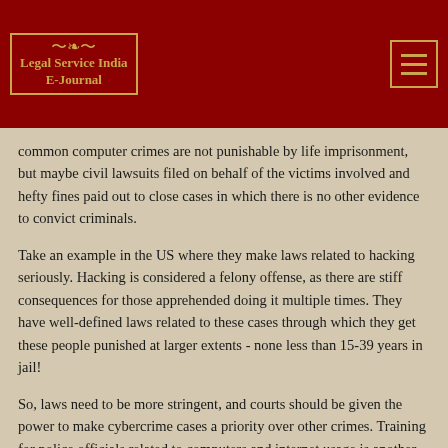[Figure (logo): Legal Service India E-Journal logo with golden text and border on dark red background]
common computer crimes are not punishable by life imprisonment, but maybe civil lawsuits filed on behalf of the victims involved and hefty fines paid out to close cases in which there is no other evidence to convict criminals.
Take an example in the US where they make laws related to hacking seriously. Hacking is considered a felony offense, as there are stiff consequences for those apprehended doing it multiple times. They have well-defined laws related to these cases through which they get these people punished at larger extents - none less than 15-39 years in jail!
So, laws need to be more stringent, and courts should be given the power to make cybercrime cases a priority over other crimes. Training for police officials related to computers and internet usage is another crucial way of decreasing the cybercrime rate; this means that India must encourage education in computer science at an early age.